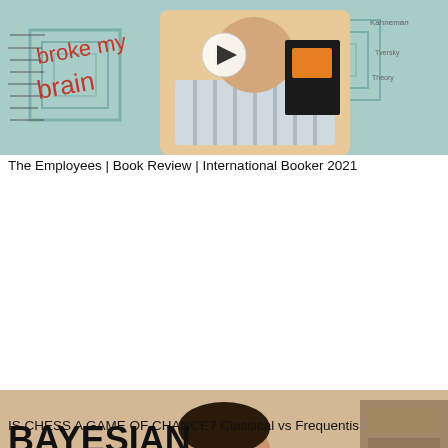[Figure (screenshot): Video thumbnail showing a woman in a striped shirt holding a black book with an orange cover. Text overlay reads 'broke my brain'. A play button icon is visible in the center.]
The Employees | Book Review | International Booker 2021
[Figure (screenshot): Video thumbnail showing a man sitting in front of a chess board. Bold text overlay reads 'BAYESIAN vs FREQUENTIST'. A play button icon is visible in the center.]
IS CHESS A GAME OF CHANCE? Classical vs Frequentis